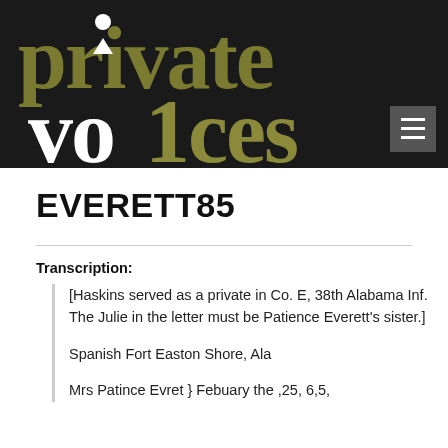[Figure (logo): Private Voices website header logo with large stylized text 'private voices' in olive/khaki and white on dark background, with a hamburger menu icon in the top right]
EVERETT85
Transcription:
[Haskins served as a private in Co. E, 38th Alabama Inf. The Julie in the letter must be Patience Everett's sister.]
Spanish Fort Easton Shore, Ala
Mrs Patince Evret } Febuary the ,25, 6,5,